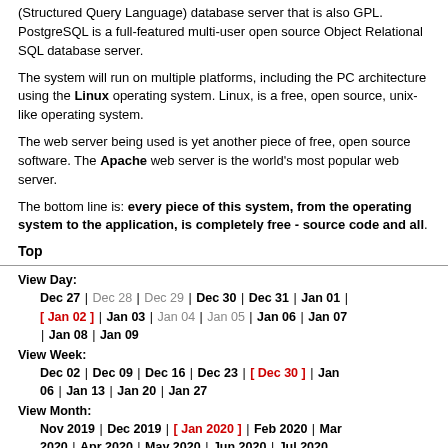(Structured Query Language) database server that is also GPL. PostgreSQL is a full-featured multi-user open source Object Relational SQL database server.
The system will run on multiple platforms, including the PC architecture using the Linux operating system. Linux, is a free, open source, unix-like operating system.
The web server being used is yet another piece of free, open source software. The Apache web server is the world's most popular web server.
The bottom line is: every piece of this system, from the operating system to the application, is completely free - source code and all.
Top
View Day: Dec 27 | Dec 28 | Dec 29 | Dec 30 | Dec 31 | Jan 01 | [ Jan 02 ] | Jan 03 | Jan 04 | Jan 05 | Jan 06 | Jan 07 | Jan 08 | Jan 09
View Week: Dec 02 | Dec 09 | Dec 16 | Dec 23 | [ Dec 30 ] | Jan 06 | Jan 13 | Jan 20 | Jan 27
View Month: Nov 2019 | Dec 2019 | [ Jan 2020 ] | Feb 2020 | Mar 2020 | Apr 2020 | May 2020 | Jun 2020 | Jul 2020